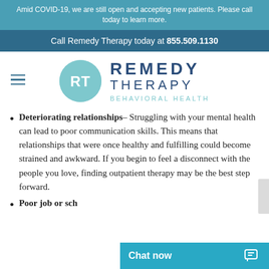Amid COVID-19, we are still open and accepting new patients. Please call today to learn more.
Call Remedy Therapy today at 855.509.1130
[Figure (logo): Remedy Therapy Behavioral Health logo: teal circle with RT monogram, beside REMEDY THERAPY BEHAVIORAL HEALTH text in navy and teal]
Deteriorating relationships– Struggling with your mental health can lead to poor communication skills. This means that relationships that were once healthy and fulfilling could become strained and awkward. If you begin to feel a disconnect with the people you love, finding outpatient therapy may be the best step forward.
Poor job or sch…